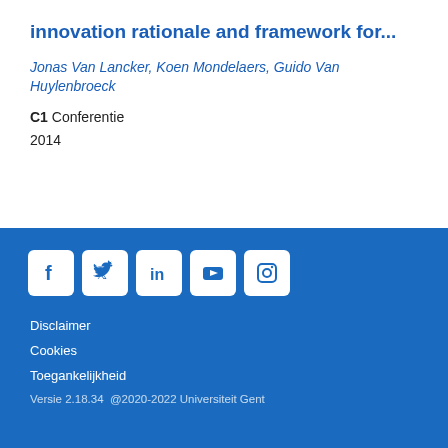innovation rationale and framework for...
Jonas Van Lancker, Koen Mondelaers, Guido Van Huylenbroeck
C1 Conferentie
2014
[Figure (illustration): Social media icons: Facebook, Twitter, LinkedIn, YouTube, Instagram in white boxes on blue background]
Disclaimer
Cookies
Toegankelijkheid
Versie 2.18.34  @2020-2022 Universiteit Gent